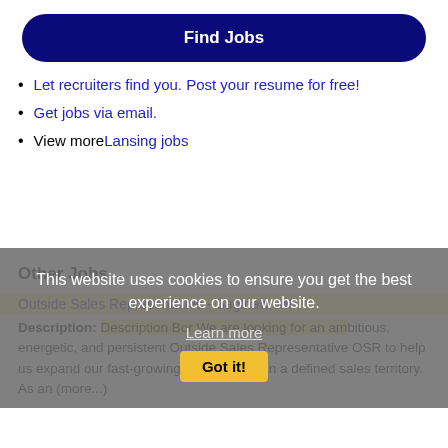Find Jobs
Let recruiters find you. Post your resume for free!
Get jobs via email.
View more Lansing jobs
This website uses cookies to ensure you get the best experience on our website.
Learn more
Got it!
Other Jobs
Outside Sales Representative - Saginaw, MI
Description: Description B or We are looking for an ambitious, energetic, and persistent Outside Sales Representative OSR to help us expand our fast-growing business within a defined sales territory. As an (more...)